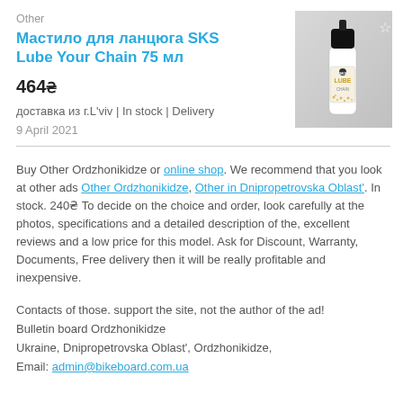Other
Мастило для ланцюга SKS Lube Your Chain 75 мл
[Figure (photo): Product photo of SKS Lube Your Chain 75ml bottle with black cap on grey background, with a star/bookmark icon in top-right corner]
464₴
доставка из г.L'viv | In stock | Delivery
9 April 2021
Buy Other Ordzhonikidze or online shop. We recommend that you look at other ads Other Ordzhonikidze, Other in Dnipropetrovska Oblast'. In stock. 240₴ To decide on the choice and order, look carefully at the photos, specifications and a detailed description of the, excellent reviews and a low price for this model. Ask for Discount, Warranty, Documents, Free delivery then it will be really profitable and inexpensive.
Contacts of those. support the site, not the author of the ad!
Bulletin board Ordzhonikidze
Ukraine, Dnipropetrovska Oblast', Ordzhonikidze,
Email: admin@bikeboard.com.ua